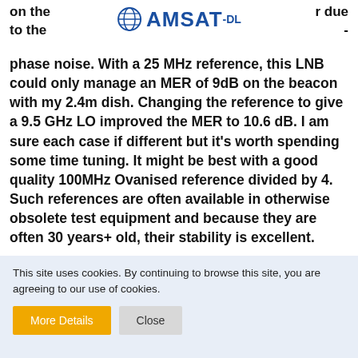on the   r due to the  -
[Figure (logo): AMSAT-DL logo with globe icon]
phase noise. With a 25 MHz reference, this LNB could only manage an MER of 9dB on the beacon with my 2.4m dish. Changing the reference to give a 9.5 GHz LO improved the MER to 10.6 dB. I am sure each case if different but it's worth spending some time tuning. It might be best with a good quality 100MHz Ovanised reference divided by 4. Such references are often available in otherwise obsolete test equipment and because they are often 30 years+ old, their stability is excellent.
If using the single cable solution with the reference injector board mentioned above, adding a low pass
This site uses cookies. By continuing to browse this site, you are agreeing to our use of cookies.
More Details
Close